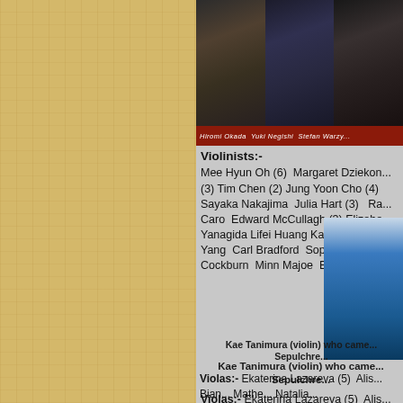[Figure (photo): Three musicians: Hiromi Okada, Yuki Negishi, Stefan Warzy (partially visible), with red caption bar below]
Hiromi Okada  Yuki Negishi  Stefan Warzy...
Violinists:-
Mee Hyun Oh (6)  Margaret Dziekon... (3) Tim Chen (2) Jung Yoon Cho (4) Sayaka Nakajima  Julia Hart (3)   Ra... Caro  Edward McCullagh (3) Elizabe... Yanagida Lifei Huang Kae Tanimura Yang  Carl Bradford  Sophie Mather Cockburn  Minn Majoe  Elaine Ambri...
[Figure (photo): Partial photo of Kae Tanimura playing violin, shown in blue dress on right side]
Kae Tanimura (violin) who came... Sepulchre...
Violas:- Ekaterina Lazareva (5)  Alis... Bian... Mathe... Natalia...